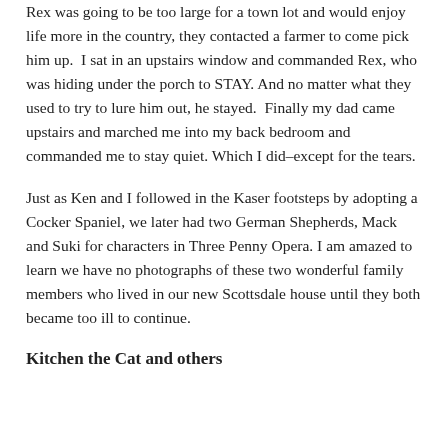Rex was going to be too large for a town lot and would enjoy life more in the country, they contacted a farmer to come pick him up.  I sat in an upstairs window and commanded Rex, who was hiding under the porch to STAY. And no matter what they used to try to lure him out, he stayed.  Finally my dad came upstairs and marched me into my back bedroom and commanded me to stay quiet. Which I did–except for the tears.
Just as Ken and I followed in the Kaser footsteps by adopting a Cocker Spaniel, we later had two German Shepherds, Mack and Suki for characters in Three Penny Opera. I am amazed to learn we have no photographs of these two wonderful family members who lived in our new Scottsdale house until they both became too ill to continue.
Kitchen the Cat and others